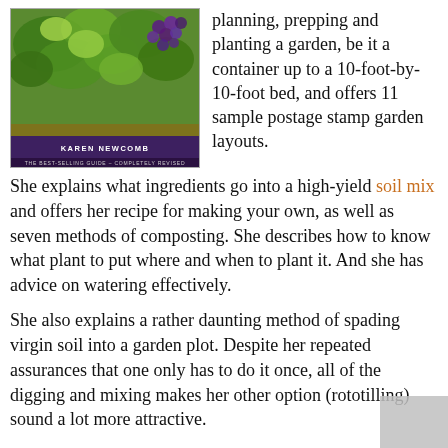[Figure (photo): Book cover showing a raised garden bed with green leafy plants and purple grapes, authored by Karen Newcomb, titled as the best-selling guide completely revised]
planning, prepping and planting a garden, be it a container up to a 10-foot-by-10-foot bed, and offers 11 sample postage stamp garden layouts.
She explains what ingredients go into a high-yield soil mix and offers her recipe for making your own, as well as seven methods of composting. She describes how to know what plant to put where and when to plant it. And she has advice on watering effectively.
She also explains a rather daunting method of spading virgin soil into a garden plot. Despite her repeated assurances that one only has to do it once, all of the digging and mixing makes her other option (rototilling) sound a lot more attractive.